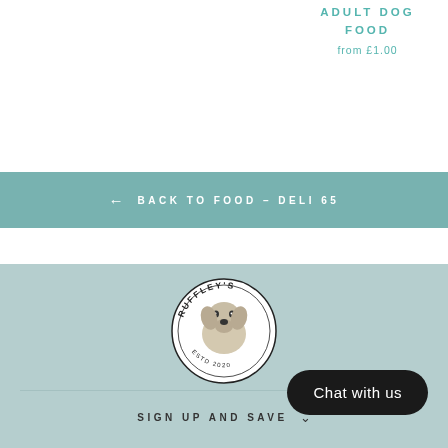ADULT DOG FOOD
from £1.00
← BACK TO FOOD – DELI 65
[Figure (logo): Ruffley's circular logo with illustration of a dog and text around the border]
Chat with us
SIGN UP AND SAVE